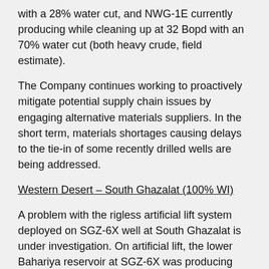with a 28% water cut, and NWG-1E currently producing while cleaning up at 32 Bopd with an 70% water cut (both heavy crude, field estimate).
The Company continues working to proactively mitigate potential supply chain issues by engaging alternative materials suppliers. In the short term, materials shortages causing delays to the tie-in of some recently drilled wells are being addressed.
Western Desert – South Ghazalat (100% WI)
A problem with the rigless artificial lift system deployed on SGZ-6X well at South Ghazalat is under investigation. On artificial lift, the lower Bahariya reservoir at SGZ-6X was producing 128 Bopd of light crude oil with an 82% watercut (field estimate) prior to well shut-in.
Canada